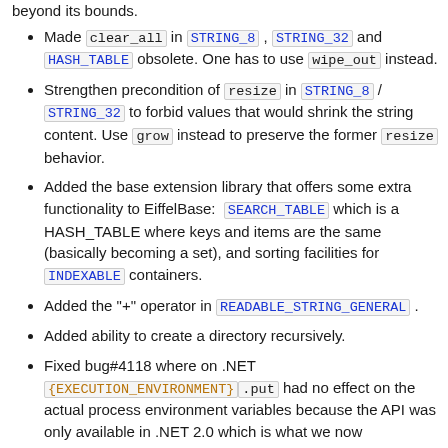beyond its bounds.
Made clear_all in STRING_8, STRING_32 and HASH_TABLE obsolete. One has to use wipe_out instead.
Strengthen precondition of resize in STRING_8 / STRING_32 to forbid values that would shrink the string content. Use grow instead to preserve the former resize behavior.
Added the base extension library that offers some extra functionality to EiffelBase: SEARCH_TABLE which is a HASH_TABLE where keys and items are the same (basically becoming a set), and sorting facilities for INDEXABLE containers.
Added the "+" operator in READABLE_STRING_GENERAL.
Added ability to create a directory recursively.
Fixed bug#4118 where on .NET {EXECUTION_ENVIRONMENT}.put had no effect on the actual process environment variables because the API was only available in .NET 2.0 which is what we now